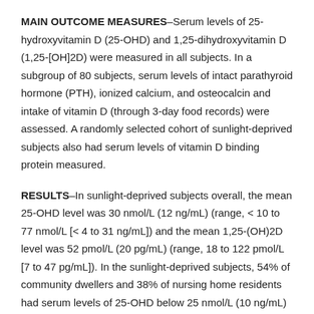MAIN OUTCOME MEASURES–Serum levels of 25-hydroxyvitamin D (25-OHD) and 1,25-dihydroxyvitamin D (1,25-[OH]2D) were measured in all subjects. In a subgroup of 80 subjects, serum levels of intact parathyroid hormone (PTH), ionized calcium, and osteocalcin and intake of vitamin D (through 3-day food records) were assessed. A randomly selected cohort of sunlight-deprived subjects also had serum levels of vitamin D binding protein measured.
RESULTS–In sunlight-deprived subjects overall, the mean 25-OHD level was 30 nmol/L (12 ng/mL) (range, < 10 to 77 nmol/L [< 4 to 31 ng/mL]) and the mean 1,25-(OH)2D level was 52 pmol/L (20 pg/mL) (range, 18 to 122 pmol/L [7 to 47 pg/mL]). In the sunlight-deprived subjects, 54% of community dwellers and 38% of nursing home residents had serum levels of 25-OHD below 25 nmol/L (10 ng/mL) (normal range, 25 to 137 nmol/L [10 to 55 ng/mL]). A significant inverse relationship existed between 25-OHD (ie, Log [25-OHD]) and PTH when they were analyzed together (r = -0.42; R2 = 0.18; P <